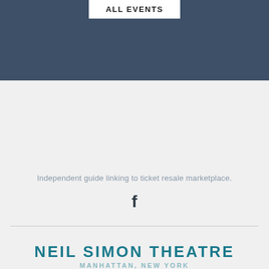ALL EVENTS
Independent guide linking to ticket resale marketplace.
[Figure (logo): Facebook logo icon (f)]
NEIL SIMON THEATRE
MANHATTAN, NEW YORK
Rules
Info
Parking
Address
Contact